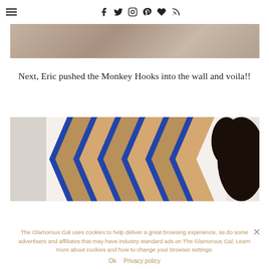Navigation bar with hamburger menu, social icons (Facebook, Twitter, Instagram, Pinterest, heart, RSS) and search
[Figure (photo): Partial photo at top of page, showing a person against a neutral background, cropped to show only the bottom portion]
Next, Eric pushed the Monkey Hooks into the wall and voila!!
[Figure (photo): Photo showing a decorative item with a blue and brown chevron/zigzag pattern, with a person's dark curly hair visible on the right side]
The Glamorous Gal uses cookies to help deliver a great browsing experience, as do some advertisers and affiliates that may have industry standard ads on The Glamorous Gal. Learn more about cookies and how to change your browser settings:
Ok   Privacy policy